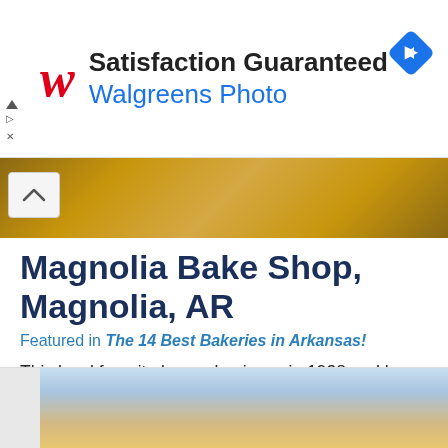[Figure (screenshot): Walgreens Photo advertisement banner with red W logo, 'Satisfaction Guaranteed' headline, 'Walgreens Photo' subtext, and blue navigation arrow icon]
[Figure (photo): Partial food/bakery photo strip, warm tones, partially collapsed with up-chevron button]
Magnolia Bake Shop, Magnolia, AR
Featured in The 14 Best Bakeries in Arkansas!
This local favorite began business in 1928 and has been operated by three generations of the same family since. Magnolia Bake Shop serves a delicious assortment of cakes, pies, cookies, cupcakes,... Read More
[Figure (photo): Bottom partial photo showing blue sky and what appears to be baked goods or pastry]